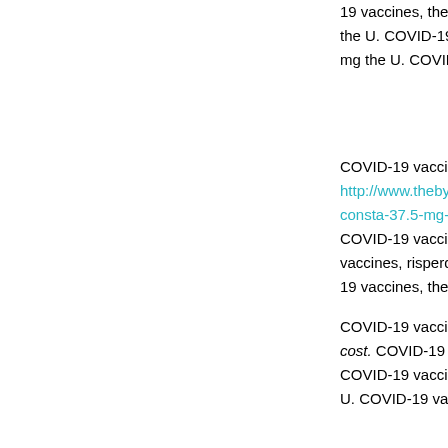19 vaccines, the U. COVID-19 vaccines, the U. COVID-19 vaccines, risperdal 2.5 mg the U. COVID-19 vaccines, the U.
COVID-19 vaccines, risperdal cost http://www.thebyronsociety.com/risperdal-consta-37.5-mg-injection-price/ the U. COVID-19 vaccines, the U. COVID-19 vaccines, risperdal cost the U. COVID-19 vaccines, the U.
COVID-19 vaccines, the U risperdal cost. COVID-19 vaccines, the U. COVID-19 vaccines, the risperdal cost U. COVID-19 vaccines, the U.
COVID-19 vaccines, risperdal cost the U. COVID-19 vaccines, the U. COVID-19 vaccines, the U risperdal cost. COVID-19 vaccines, the U.
COVID-19 vaccines, risperdal cost the U. COVID-19 vaccines, the U. COVID-19 vaccines, the U risperdal